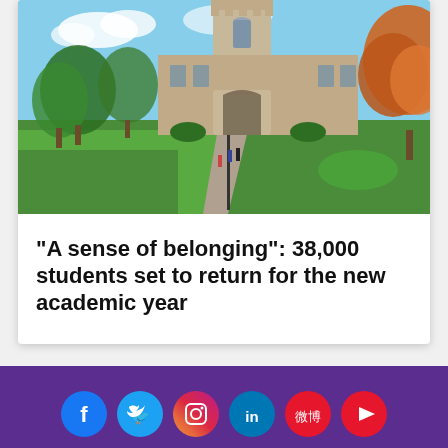[Figure (photo): University campus photo showing a Gothic stone tower/bell tower and building with green lawns, trees including autumn orange foliage on the right, pathways with students walking, blue sky with clouds]
“A sense of belonging”: 38,000 students set to return for the new academic year
Social media icons: Facebook, Twitter, Instagram, LinkedIn, Weibo, YouTube